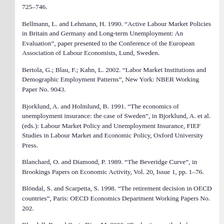725–746.
Bellmann, L. and Lehmann, H. 1990. “Active Labour Market Policies in Britain and Germany and Long-term Unemployment: An Evaluation”, paper presented to the Conference of the European Association of Labour Economists, Lund, Sweden.
Bertola, G.; Blau, F.; Kahn, L. 2002. “Labor Market Institutions and Demographic Employment Patterns”, New York: NBER Working Paper No. 9043.
Bjorklund, A. and Holmlund, B. 1991. “The economics of unemployment insurance: the case of Sweden”, in Bjorklund, A. et al. (eds.): Labour Market Policy and Unemployment Insurance, FIEF Studies in Labour Market and Economic Policy, Oxford University Press.
Blanchard, O. and Diamond, P. 1989. “The Beveridge Curve”, in Brookings Papers on Economic Activity, Vol. 20, Issue 1, pp. 1–76.
Blöndal, S. and Scarpetta, S. 1998. “The retirement decision in OECD countries”, Paris: OECD Economics Department Working Papers No. 202.
Blundell, R. and Costa Dias, M. 2000. “Evaluation methods for non-experimental data”, in Fiscal studies, Vol. 21, Issue 4, pp.